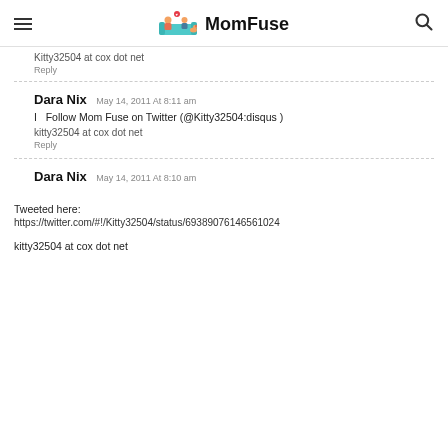MomFuse
Kitty32504 at cox dot net
Reply
Dara Nix May 14, 2011 At 8:11 am
I  Follow Mom Fuse on Twitter (@Kitty32504:disqus )
kitty32504 at cox dot net
Reply
Dara Nix May 14, 2011 At 8:10 am
Tweeted here:
https://twitter.com/#!/Kitty32504/status/69389076146561024
kitty32504 at cox dot net